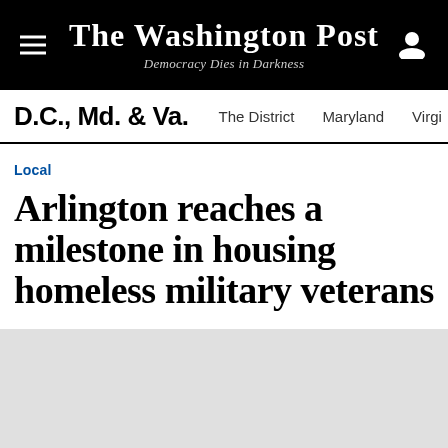The Washington Post — Democracy Dies in Darkness
D.C., Md. & Va.   The District   Maryland   Virgi
Local
Arlington reaches a milestone in housing homeless military veterans